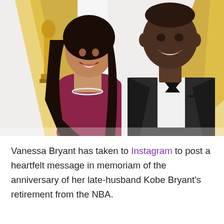[Figure (photo): Vanessa Bryant and Kobe Bryant posing together at what appears to be the Academy Awards (Oscars). Vanessa wears a burgundy off-shoulder gown and a diamond necklace; Kobe wears a black tuxedo with a bow tie. Gold Oscar statues and chevron backdrop visible in background.]
Vanessa Bryant has taken to Instagram to post a heartfelt message in memoriam of the anniversary of her late-husband Kobe Bryant's retirement from the NBA.